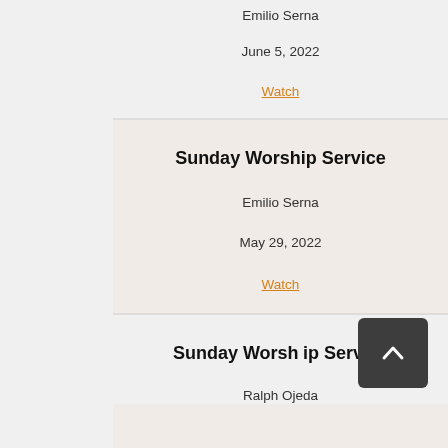Emilio Serna
June 5, 2022
Watch
Sunday Worship Service
Emilio Serna
May 29, 2022
Watch
Sunday Worship Service
Ralph Ojeda